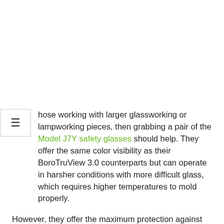hose working with larger glassworking or lampworking pieces, then grabbing a pair of the Model J7Y safety glasses should help. They offer the same color visibility as their BoroTruView 3.0 counterparts but can operate in harsher conditions with more difficult glass, which requires higher temperatures to mold properly.
However, they offer the maximum protection against UV and IR and are there when the foundation of glass working begins. In addition, these glass working safety glasses have a nice wrap-around safety feature to ensure they stay on comfortably all day without causing any pressure pain.
There are also detachable foam gaskets and can be used only when needed in high particle or debris locations. At the same time, these